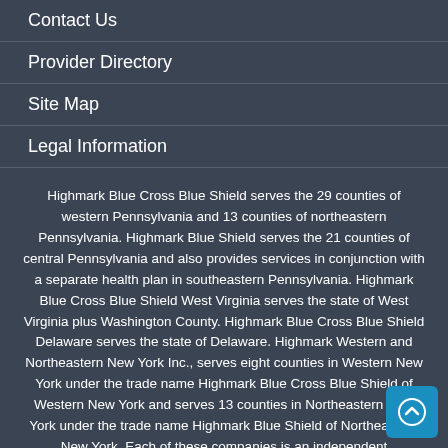Contact Us
Provider Directory
Site Map
Legal Information
Highmark Blue Cross Blue Shield serves the 29 counties of western Pennsylvania and 13 counties of northeastern Pennsylvania. Highmark Blue Shield serves the 21 counties of central Pennsylvania and also provides services in conjunction with a separate health plan in southeastern Pennsylvania. Highmark Blue Cross Blue Shield West Virginia serves the state of West Virginia plus Washington County. Highmark Blue Cross Blue Shield Delaware serves the state of Delaware. Highmark Western and Northeastern New York Inc., serves eight counties in Western New York under the trade name Highmark Blue Cross Blue Shield of Western New York and serves 13 counties in Northeastern New York under the trade name Highmark Blue Shield of Northeastern New York. Each of these companies is an independent